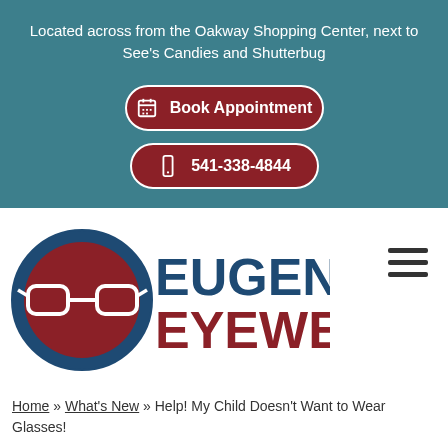Located across from the Oakway Shopping Center, next to See's Candies and Shutterbug
Book Appointment
541-338-4844
[Figure (logo): Eugene Eyewear logo: dark blue circle with brown fill containing white eyeglasses icon, next to bold text EUGENE in dark blue and EYEWEAR in dark red/brown]
Home » What's New » Help! My Child Doesn't Want to Wear Glasses!